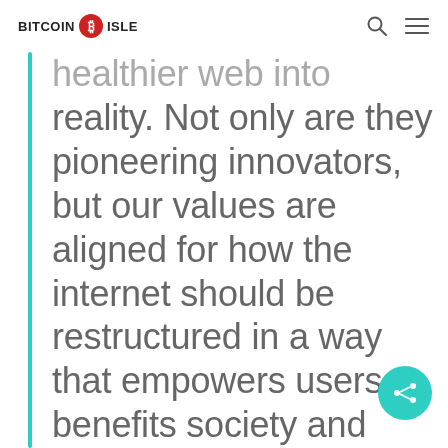BITCOIN ISLE
healthier web into reality. Not only are they pioneering innovators, but our values are aligned for how the internet should be restructured in a way that empowers users, benefits society and strengthens